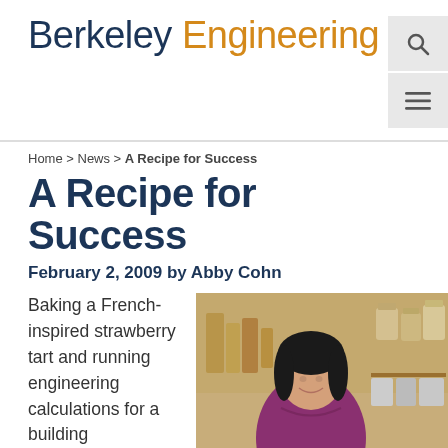Berkeley Engineering
Home > News > A Recipe for Success
A Recipe for Success
February 2, 2009 by Abby Cohn
[Figure (photo): Woman smiling in front of bakery shelves with jars and pastry supplies]
Baking a French-inspired strawberry tart and running engineering calculations for a building